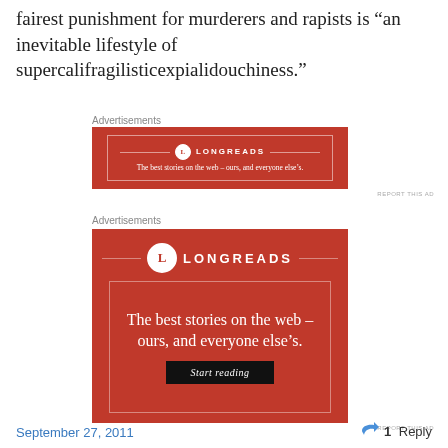fairest punishment for murderers and rapists is “an inevitable lifestyle of supercalifragilisticexpialidouchiness.”
Advertisements
[Figure (other): Longreads advertisement banner: red background with white circle logo containing letter L, text LONGREADS, tagline 'The best stories on the web – ours, and everyone else’s.']
REPORT THIS AD
Advertisements
[Figure (other): Longreads large advertisement: red background, circle L logo with LONGREADS text, tagline 'The best stories on the web – ours, and everyone else’s.' with a 'Start reading' button]
REPORT THIS AD
September 27, 2011
1 Reply